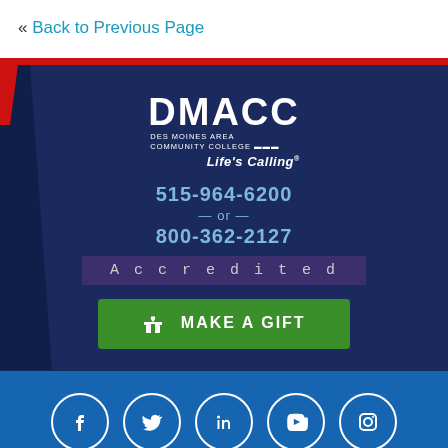« Back to Previous Page
[Figure (logo): DMACC Des Moines Area Community College Life's Calling logo in white on dark navy background]
515-964-6200
— or —
800-362-2127
Accredited
MAKE A GIFT
[Figure (infographic): Social media icons in white circles on blue background: Facebook, Twitter, LinkedIn, YouTube, Instagram]